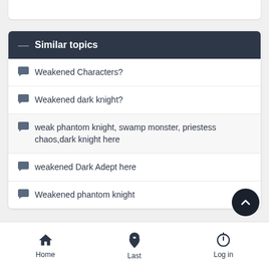Similar topics
Weakened Characters?
Weakened dark knight?
weak phantom knight, swamp monster, priestess chaos,dark knight here
weakened Dark Adept here
Weakened phantom knight
Home  Last  Log in